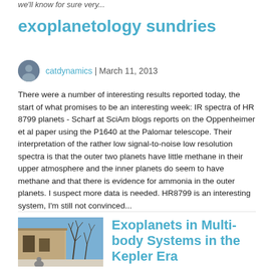we'll know for sure very...
exoplanetology sundries
catdynamics | March 11, 2013
There were a number of interesting results reported today, the start of what promises to be an interesting week: IR spectra of HR 8799 planets - Scharf at SciAm blogs reports on the Oppenheimer et al paper using the P1640 at the Palomar telescope. Their interpretation of the rather low signal-to-noise low resolution spectra is that the outer two planets have little methane in their upper atmosphere and the inner planets do seem to have methane and that there is evidence for ammonia in the outer planets. I suspect more data is needed. HR8799 is an interesting system, I'm still not convinced...
[Figure (photo): Exterior photo of a building with bare trees in winter, blue sky background]
Exoplanets in Multi-body Systems in the Kepler Era